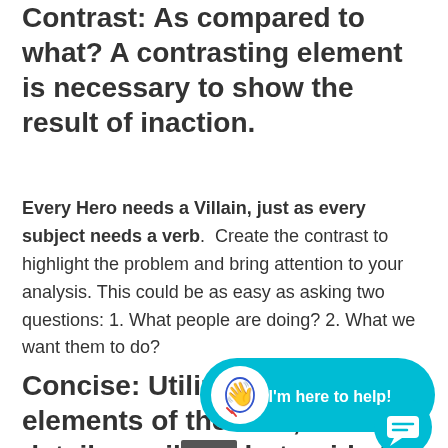Contrast: As compared to what? A contrasting element is necessary to show the result of inaction.
Every Hero needs a Villain, just as every subject needs a verb.  Create the contrast to highlight the problem and bring attention to your analysis. This could be as easy as asking two questions: 1. What people are doing? 2. What we want them to do?
[Figure (illustration): A cyan/turquoise chat helper bubble with a hand wave icon and text 'I'm here to help!', plus a circular cyan chat button icon below it.]
Concise: Utilize the basic elements of the data, have details available but guide the audience through the